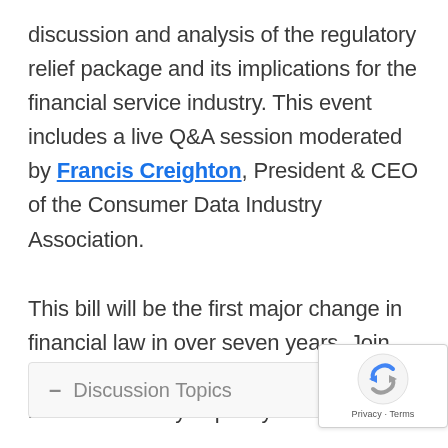discussion and analysis of the regulatory relief package and its implications for the financial service industry. This event includes a live Q&A session moderated by Francis Creighton, President & CEO of the Consumer Data Industry Association.
This bill will be the first major change in financial law in over seven years. Join our team of experts to learn more about how this bill may impact you.
– Discussion Topics